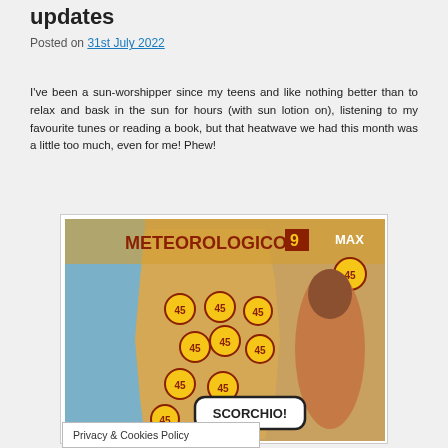updates
Posted on 31st July 2022
I've been a sun-worshipper since my teens and like nothing better than to relax and bask in the sun for hours (with sun lotion on), listening to my favourite tunes or reading a book, but that heatwave we had this month was a little too much, even for me! Phew!
[Figure (photo): Humorous weather map image showing Portugal with multiple sun symbols all reading 45 degrees temperature, with a woman presenter and a speech bubble saying SCORCHIO!]
Privacy & Cookies Policy